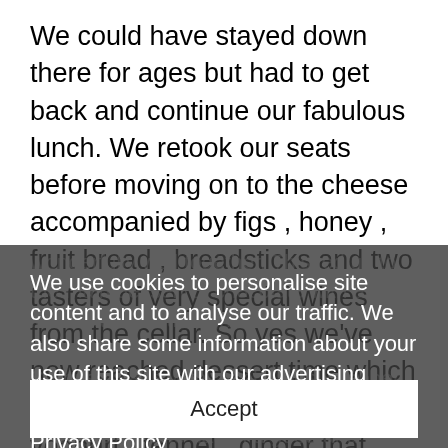We could have stayed down there for ages but had to get back and continue our fabulous lunch. We retook our seats before moving on to the cheese accompanied by figs , honey , fruit bread , breadsticks and two tasters of very special wines from the cellar. So yes we've now reached dessert time which started with the Fig with greek yoghurt , fennel , ginger that was a very interesting combination yet the flavours worked
wonderfully well together. This led us to the main dessert of chocolate with alium, lemon and we thought that was it, we were wrong as together with this came a Surprise Baba with raspberries , pepper & chantilly cream. We were now literally waving the white flag in a good and light hearted way because everything had been truly amazing. We finished with memorable lunch which I can only describe as
We use cookies to personalise site content and to analyse our traffic. We also share some information about your use of this site with our advertising partners.
Privacy Policy
Accept